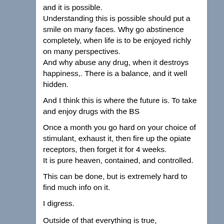and it is possible.
Understanding this is possible should put a smile on many faces. Why go abstinence completely, when life is to be enjoyed richly on many perspectives.
And why abuse any drug, when it destroys happiness,. There is a balance, and it well hidden.
And I think this is where the future is. To take and enjoy drugs with the BS
Once a month you go hard on your choice of stimulant, exhaust it, then fire up the opiate receptors, then forget it for 4 weeks.
It is pure heaven, contained, and controlled.
This can be done, but is extremely hard to find much info on it.
I digress.
Outside of that everything is true,
I was Hellman, and a few other characters, still floating around.
And everything I did there had reason, which was sometimes not able to be understood by passers by, or ones of low intellect.
I even impersonated Eleusis, solely to flush him out, as I loved him so much. And missed him.
I just wanted to know for sure, that he was still not